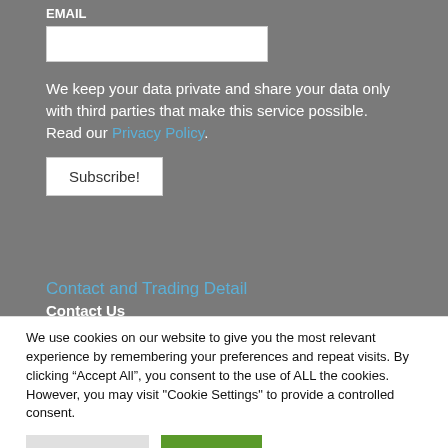EMAIL
We keep your data private and share your data only with third parties that make this service possible. Read our Privacy Policy.
Subscribe!
Contact and Trading Detail
Contact Us
We use cookies on our website to give you the most relevant experience by remembering your preferences and repeat visits. By clicking “Accept All”, you consent to the use of ALL the cookies. However, you may visit "Cookie Settings" to provide a controlled consent.
Cookie Settings
Accept All